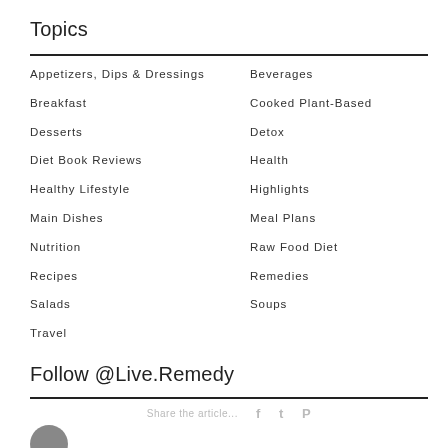Topics
Appetizers, Dips & Dressings
Beverages
Breakfast
Cooked Plant-Based
Desserts
Detox
Diet Book Reviews
Health
Healthy Lifestyle
Highlights
Main Dishes
Meal Plans
Nutrition
Raw Food Diet
Recipes
Remedies
Salads
Soups
Travel
Follow @Live.Remedy
Share the article...